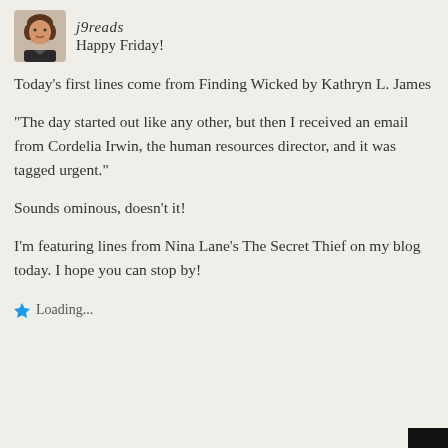[Figure (photo): Small profile photo of a woman with short brown hair, used as avatar for user j9reads]
j9reads
Happy Friday!
Today's first lines come from Finding Wicked by Kathryn L. James
“The day started out like any other, but then I received an email from Cordelia Irwin, the human resources director, and it was tagged urgent.”
Sounds ominous, doesn’t it!
I’m featuring lines from Nina Lane’s The Secret Thief on my blog today. I hope you can stop by!
Loading...